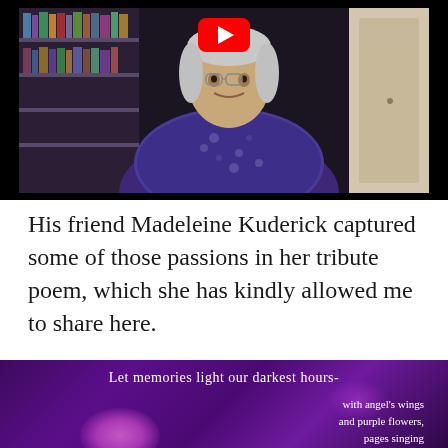[Figure (screenshot): Video thumbnail showing a man in a floral blue shirt seated in front of bookshelves, with a red YouTube play button visible at the top center]
His friend Madeleine Kuderick captured some of those passions in her tribute poem, which she has kindly allowed me to share here.
[Figure (illustration): Dark purple/violet background image with poem text overlay. Title reads 'Let memories light our darkest hours-' followed by lines: 'with angel's wings / and purple flowers, / pages singing / Mary's Song, / children's voices / poet strong, / words of wisdom, / Dear Ones, / sonnet, free verse, / rhyming runs,' with pink bokeh flowers at bottom.]